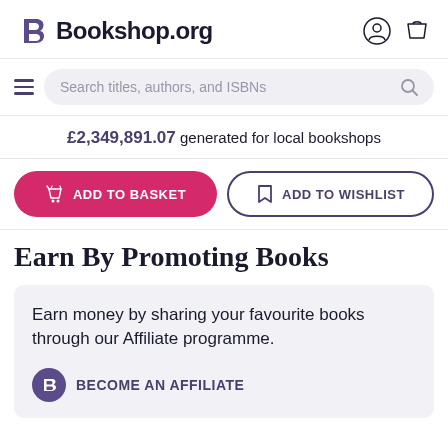Bookshop.org
Search titles, authors, and ISBNs
£2,349,891.07 generated for local bookshops
ADD TO BASKET | ADD TO WISHLIST
Earn By Promoting Books
Earn money by sharing your favourite books through our Affiliate programme.
BECOME AN AFFILIATE